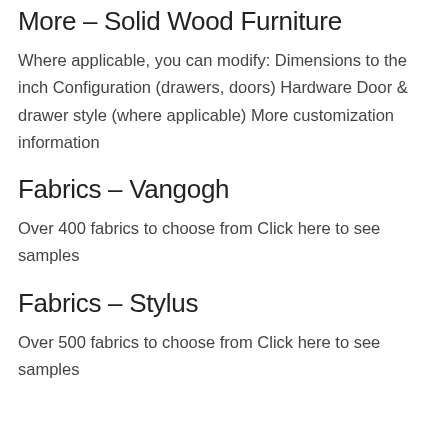More – Solid Wood Furniture
Where applicable, you can modify: Dimensions to the inch Configuration (drawers, doors) Hardware Door & drawer style (where applicable) More customization information
Fabrics – Vangogh
Over 400 fabrics to choose from Click here to see samples
Fabrics – Stylus
Over 500 fabrics to choose from Click here to see samples